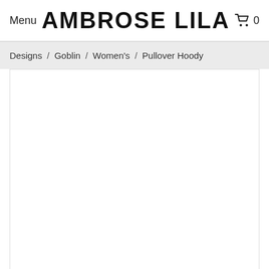Menu | AMBROSE LIlA | 0
Designs / Goblin / Women's / Pullover Hoody
[Figure (photo): White product image area for a Women's Pullover Hoody, blank white background]